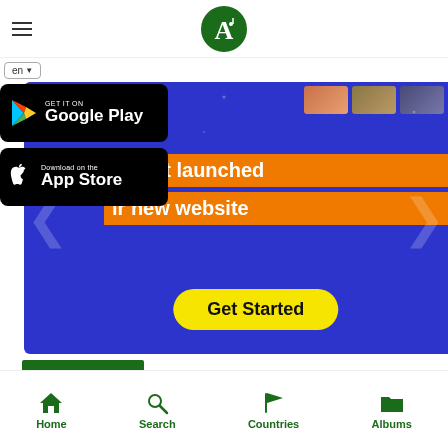[Figure (logo): Green circular logo with white letter A inside, website logo]
[Figure (screenshot): Website promotional banner on dark blue background showing 'Notjfy just launched their new website' with a yellow Get Started button, Google Play and App Store download buttons overlaid on left]
WATCH VIDEO
[Figure (infographic): Bottom navigation bar with Home, Search, Countries, Albums icons in green]